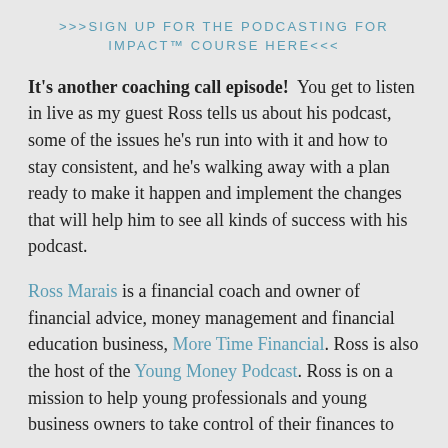>>>SIGN UP FOR THE PODCASTING FOR IMPACT™ COURSE HERE<<<
It's another coaching call episode! You get to listen in live as my guest Ross tells us about his podcast, some of the issues he's run into with it and how to stay consistent, and he's walking away with a plan ready to make it happen and implement the changes that will help him to see all kinds of success with his podcast.
Ross Marais is a financial coach and owner of financial advice, money management and financial education business, More Time Financial. Ross is also the host of the Young Money Podcast. Ross is on a mission to help young professionals and young business owners to take control of their finances to